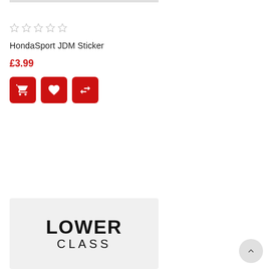[Figure (other): Thin horizontal grey bar representing top of a product image]
[Figure (other): Five grey star rating icons (no fill/empty stars)]
HondaSport JDM Sticker
£3.99
[Figure (other): Three red icon buttons: shopping cart, heart/wishlist, compare arrows]
[Figure (other): Product card with grey background showing LOWER CLASS text logo in bold black]
[Figure (other): Back to top button (circle with upward chevron arrow)]